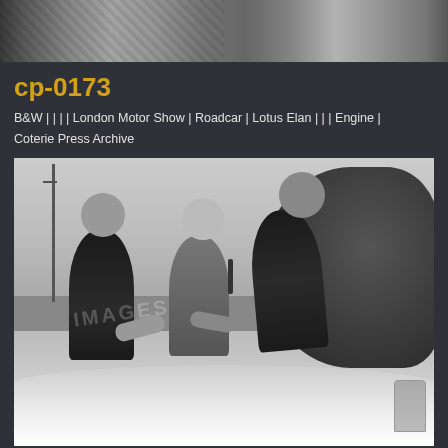[Figure (photo): Partial top strip of a black and white photograph showing two people in suits]
cp-0173
B&W | | | | London Motor Show | Roadcar | Lotus Elan | | | Engine | Coterie Press Archive
[Figure (photo): Black and white photograph of three men in suits standing outdoors near a white Lotus Elan car. Two men on the left and center are shaking hands or exchanging keys while a third man stands in the middle smiling. There is a hedge and utility pole in the background. A watermark reading 'IMAGES' is partially visible.]